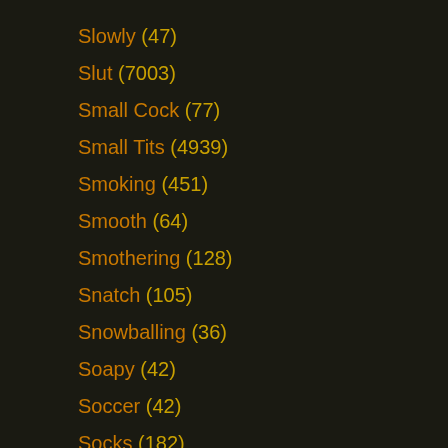Slowly (47)
Slut (7003)
Small Cock (77)
Small Tits (4939)
Smoking (451)
Smooth (64)
Smothering (128)
Snatch (105)
Snowballing (36)
Soapy (42)
Soccer (42)
Socks (182)
Sodomized (74)
Softcore (2851)
Solarium (21)